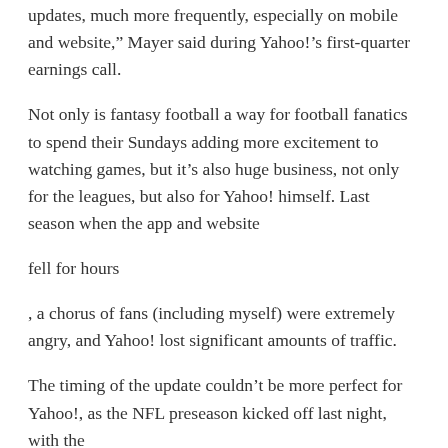updates, much more frequently, especially on mobile and website,” Mayer said during Yahoo!’s first-quarter earnings call.
Not only is fantasy football a way for football fanatics to spend their Sundays adding more excitement to watching games, but it’s also huge business, not only for the leagues, but also for Yahoo! himself. Last season when the app and website
fell for hours
, a chorus of fans (including myself) were extremely angry, and Yahoo! lost significant amounts of traffic.
The timing of the update couldn’t be more perfect for Yahoo!, as the NFL preseason kicked off last night, with the
Dallas Cowboys
beat the